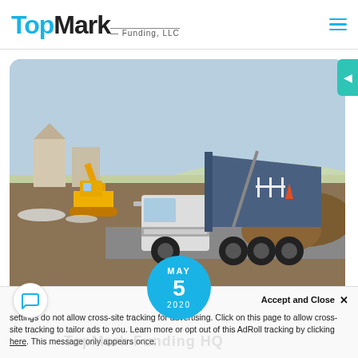TopMark Funding, LLC
[Figure (photo): A dump truck with its bed raised at a construction site. A yellow excavator is visible on the left. Buildings under construction and mounds of dirt are in the background. Winter/overcast sky.]
MAY 5 2020
Accept and Close ×  settings do not allow cross-site tracking for advertising. Click on this page to allow cross-site tracking to tailor ads to you. Learn more or opt out of this AdRoll tracking by clicking here. This message only appears once.